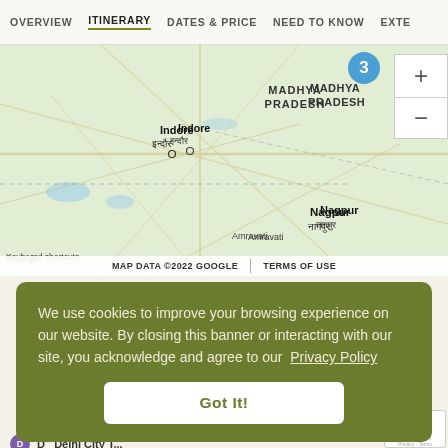OVERVIEW   ITINERARY   DATES & PRICE   NEED TO KNOW   EXTE
[Figure (map): Google Map showing central India with labels: Madhya Pradesh, India, Indore (इन्दौर), Nagpur (नागपुर), Amravati, Raipur (रायपुर), Chhattisgarh region. A blue numbered marker '3' is visible. Zoom in/out controls on right. Map footer shows MAP DATA ©2022 GOOGLE and TERMS OF USE.]
We use cookies to improve your browsing experience on our website. By closing this banner or interacting with our site, you acknowledge and agree to our  Privacy Policy
Got It!
D   Delhi City T...